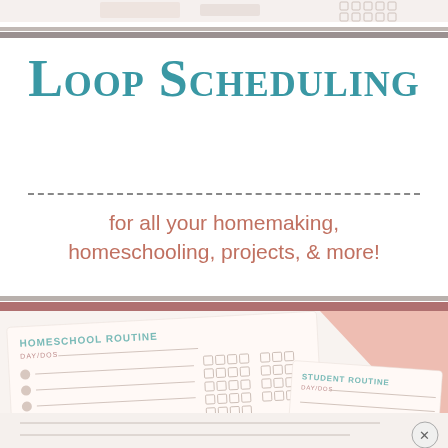[Figure (illustration): Decorative top strip with partial image, checkboxes/squares in top right, and horizontal separator bars in gray and brown]
Loop Scheduling
for all your homemaking, homeschooling, projects, & more!
[Figure (illustration): Two overlapping homeschool routine cards on a light peach background. First card reads 'HOMESCHOOL ROUTINE / DAY/DOS' with bullet rows and checkbox grids. Second card reads 'STUDENT ROUTINE / DAY/DOS' with lines.]
[Figure (illustration): Bottom partial strip showing partial lines and a close (X) button circle in the bottom right corner]